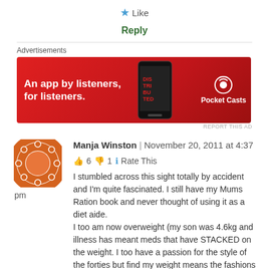★ Like
Reply
[Figure (other): Pocket Casts advertisement banner: 'An app by listeners, for listeners.' with red background and app logo]
REPORT THIS AD
[Figure (other): User avatar: circular orange/red dice pattern avatar for Manja Winston]
Manja Winston | November 20, 2011 at 4:37 pm
👍 6 👎 1 ℹ Rate This
I stumbled across this sight totally by accident and I'm quite fascinated. I still have my Mums Ration book and never thought of using it as a diet aide.
I too am now overweight (my son was 4.6kg and illness has meant meds that have STACKED on the weight. I too have a passion for the style of the forties but find my weight means the fashions are off